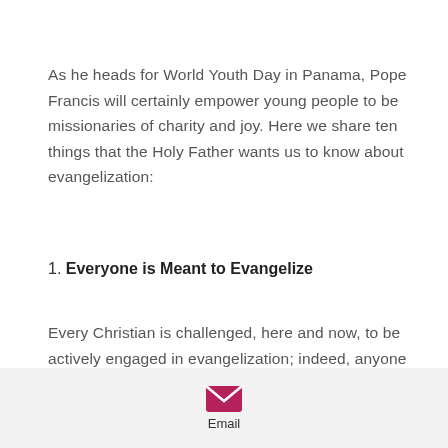As he heads for World Youth Day in Panama, Pope Francis will certainly empower young people to be missionaries of charity and joy. Here we share ten things that the Holy Father wants us to know about evangelization:
1. Everyone is Meant to Evangelize
Every Christian is challenged, here and now, to be actively engaged in evangelization; indeed, anyone who has truly experienced God’s saving love does not need much time or lengthy training to go out and proclaim that love. — Evangelii Gaudium
[Figure (other): Email icon (envelope) in pink/magenta color with label 'Email' below it, on a light gray background footer bar.]